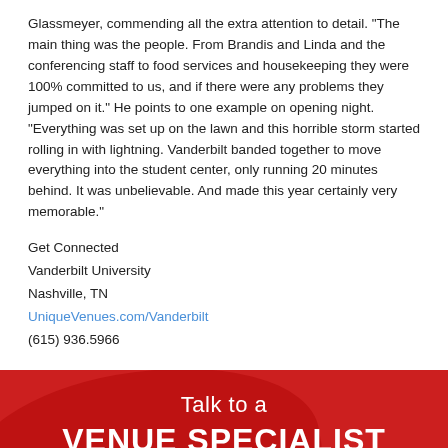Glassmeyer, commending all the extra attention to detail. "The main thing was the people. From Brandis and Linda and the conferencing staff to food services and housekeeping they were 100% committed to us, and if there were any problems they jumped on it." He points to one example on opening night. "Everything was set up on the lawn and this horrible storm started rolling in with lightning. Vanderbilt banded together to move everything into the student center, only running 20 minutes behind. It was unbelievable. And made this year certainly very memorable."
Get Connected
Vanderbilt University
Nashville, TN
UniqueVenues.com/Vanderbilt
(615) 936.5966
[Figure (infographic): Red banner advertisement with text: Talk to a VENUE SPECIALIST - Make your party one-of-a-kind by finding the perfect party room for rent at Unique Venues.]